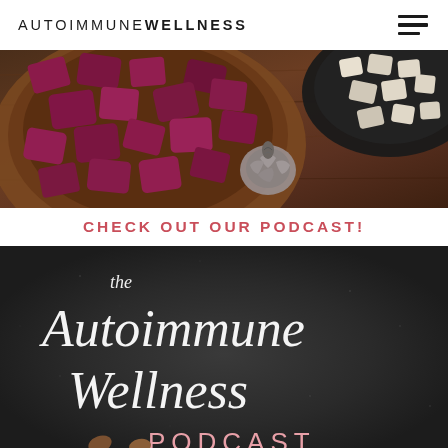AUTOIMMUNE WELLNESS
[Figure (photo): Overhead shot of a wooden bowl filled with cubed deep purple/red beets, a dark bowl with white cubed ingredients (possibly jicama or turnip), and a head of garlic on a wooden table surface.]
CHECK OUT OUR PODCAST!
[Figure (photo): Dark chalkboard-style podcast cover image reading 'the Autoimmune Wellness PODCAST' in white and pink script and serif lettering, with some wooden spoons visible at the bottom.]